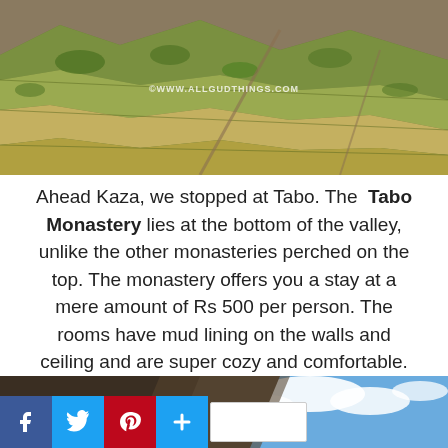[Figure (photo): Aerial/hillside view of terraced agricultural fields on a mountain slope, with arid rocky terrain. Watermark reads ©WWW.ALLGUDTHINGS.COM]
Ahead Kaza, we stopped at Tabo. The Tabo Monastery lies at the bottom of the valley, unlike the other monasteries perched on the top. The monastery offers you a stay at a mere amount of Rs 500 per person. The rooms have mud lining on the walls and ceiling and are super cozy and comfortable.
[Figure (photo): Mountain landscape with rocky dark cliffs on the left and blue sky with white clouds on the right. Social media sharing buttons visible at bottom.]